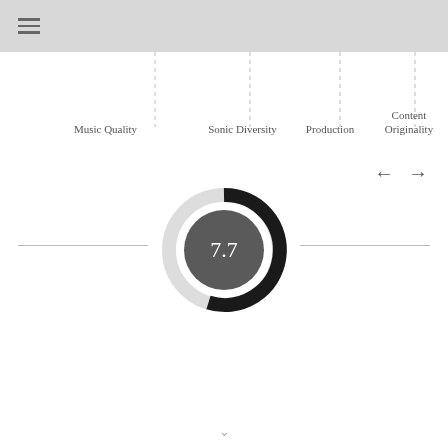≡ (menu icon)
Music Quality
Sonic Diversity
Production
Content Originality
[Figure (donut-chart): Circular gauge/donut chart showing score 7.7, dark grey fill arc approximately 77% complete, dark inner circle with white text '7.7']